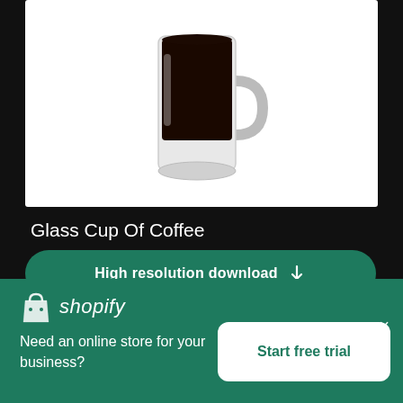[Figure (photo): A glass mug filled with dark black coffee, photographed on a white background, cropped at top]
Glass Cup Of Coffee
High resolution download
[Figure (photo): Partial view of another product image, white background, bottom portion visible]
[Figure (logo): Shopify logo with shopping bag icon and italic shopify wordmark in white on green background]
Need an online store for your business?
Start free trial